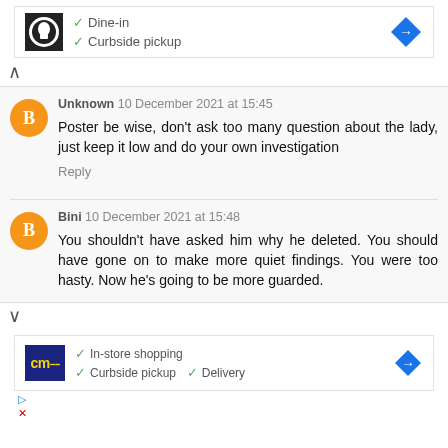[Figure (screenshot): Ad banner with restaurant logo showing Dine-in and Curbside pickup options with navigation arrow]
Unknown 10 December 2021 at 15:45
Poster be wise, don't ask too many question about the lady, just keep it low and do your own investigation
Reply
Bini 10 December 2021 at 15:48
You shouldn't have asked him why he deleted. You should have gone on to make more quiet findings. You were too hasty. Now he's going to be more guarded.
[Figure (screenshot): Ad banner with CM store logo showing In-store shopping, Curbside pickup, and Delivery options]